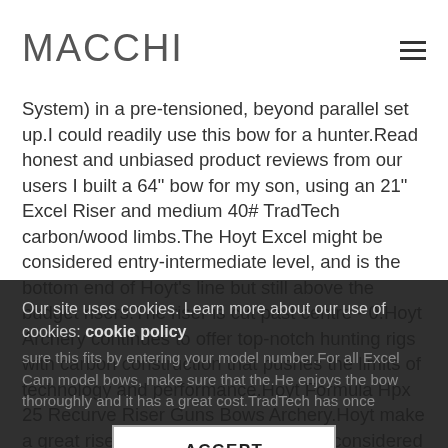MACCHI
System) in a pre-tensioned, beyond parallel set up.I could readily use this bow for a hunter.Read honest and unbiased product reviews from our users I built a 64" bow for my son, using an 21" Excel Riser and medium 40# TradTech carbon/wood limbs.The Hoyt Excel might be considered entry-intermediate level, and is the bottom end of Hoyt's line but still above the budget risers.The riser is cut past centre - 0.Hoyt Archery continues to offer top-notch hunting rigs with carbon construction that pushes the limits of technology and performance.Hoyt Formula Hpx 25 Recurve Riser Guns Bows Archery.Hoyt make a great riser The Hoyt Excel might be considered entry-intermediate level, and is the bottom end of Hoyt's line but still above the budget risers.I also
Our site uses cookies. Learn more about our use of cookies: cookie policy
sure this fits by entering your model number.For all Excel Cam model bows, make sure that the.He enjoys the bow thoroughly and it has a great cost.TradTech has once